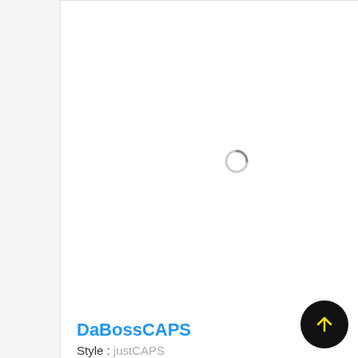[Figure (screenshot): Card showing a loading spinner for a font preview]
DaBossCAPS
Style : justCAPS
[Figure (screenshot): Action buttons row: share (green circle), add (pink circle), favourite (green circle), view (red circle)]
Red
[Figure (screenshot): Second card with loading spinner]
[Figure (screenshot): Scroll-to-top button, black circle with yellow upward arrow]